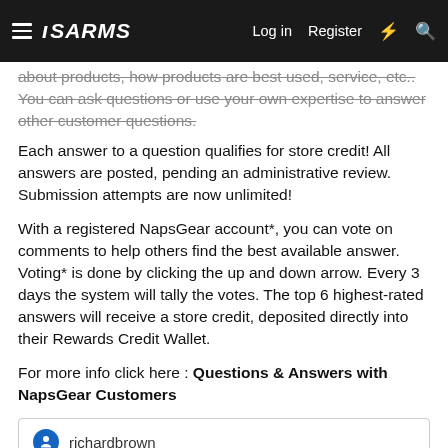ISARMS | Log in | Register
about products, how products are best used, service, etc.. You can ask questions or use your own expertise to answer other customer questions.
Each answer to a question qualifies for store credit! All answers are posted, pending an administrative review. Submission attempts are now unlimited!
With a registered NapsGear account*, you can vote on comments to help others find the best available answer. Voting* is done by clicking the up and down arrow. Every 3 days the system will tally the votes. The top 6 highest-rated answers will receive a store credit, deposited directly into their Rewards Credit Wallet.
For more info click here : Questions & Answers with NapsGear Customers
richardbrown